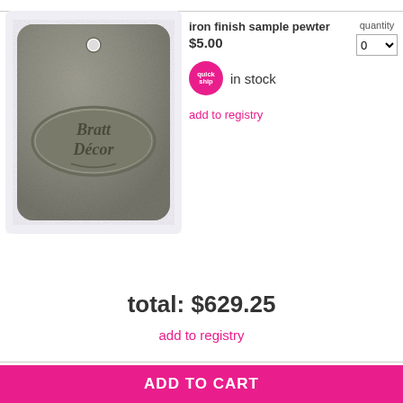[Figure (photo): A square pewter finish sample tag with rounded corners and a hole at the top, featuring an embossed oval logo reading 'Bratt Decor' in script lettering. The tag has a dark metallic textured surface.]
iron finish sample pewter
$5.00
quick ship
in stock
add to registry
quantity
0
total: $629.25
add to registry
ADD TO CART